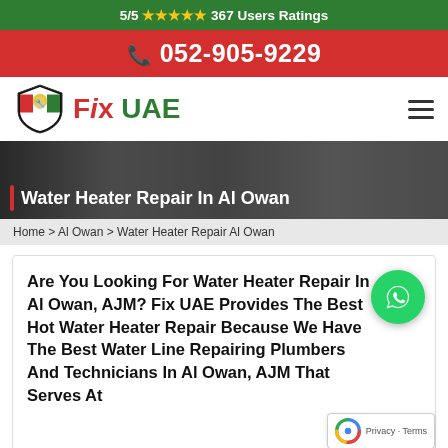5/5 ★★★★★ 367 Users Ratings
052-905-9229
[Figure (logo): Fix UAE logo with shield mascot and text Fix UAE in red and green]
Water Heater Repair In Al Owan
Home > Al Owan > Water Heater Repair Al Owan
Are You Looking For Water Heater Repair In Al Owan, AJM? Fix UAE Provides The Best Hot Water Heater Repair Because We Have The Best Water Line Repairing Plumbers And Technicians In Al Owan, AJM That Serves At